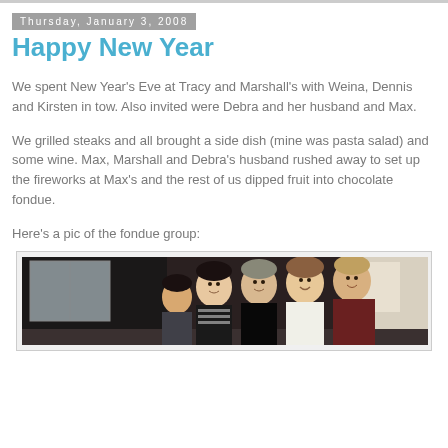Thursday, January 3, 2008
Happy New Year
We spent New Year's Eve at Tracy and Marshall's with Weina, Dennis and Kirsten in tow. Also invited were Debra and her husband and Max.
We grilled steaks and all brought a side dish (mine was pasta salad) and some wine. Max, Marshall and Debra's husband rushed away to set up the fireworks at Max's and the rest of us dipped fruit into chocolate fondue.
Here's a pic of the fondue group:
[Figure (photo): Group photo of four people (the fondue group) at a party, sitting/standing together indoors]